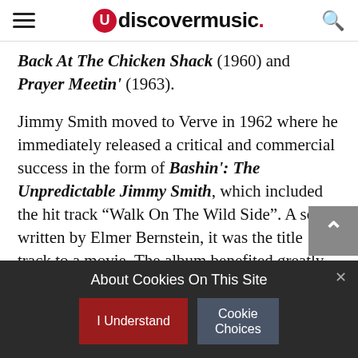udiscovermusic.
Back At The Chicken Shack (1960) and Prayer Meetin' (1963).
Jimmy Smith moved to Verve in 1962 where he immediately released a critical and commercial success in the form of Bashin': The Unpredictable Jimmy Smith, which included the hit track “Walk On The Wild Side”. A song written by Elmer Bernstein, it was the title track to a movie. The album benefited greatly from the arranging skills of Oliver Nelson and “Walk On The Wild Side” made
About Cookies On This Site
I Understand
Cookie Choices